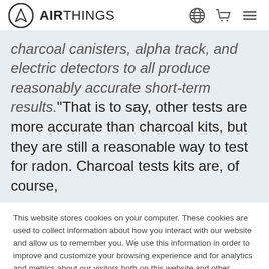AIRTHINGS
charcoal canisters, alpha track, and electric detectors to all produce reasonably accurate short-term results.”That is to say, other tests are more accurate than charcoal kits, but they are still a reasonable way to test for radon. Charcoal tests kits are, of course,
This website stores cookies on your computer. These cookies are used to collect information about how you interact with our website and allow us to remember you. We use this information in order to improve and customize your browsing experience and for analytics and metrics about our visitors both on this website and other media. To find out more about the cookies we use, see our Privacy Policy.

If you decline, your information won’t be tracked when you visit this website. A single cookie will be used in your browser to remember your preference not to be tracked.